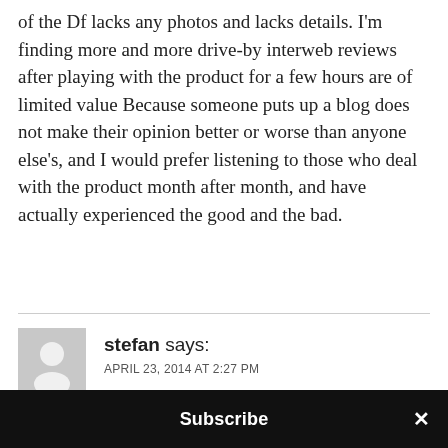of the Df lacks any photos and lacks details. I'm finding more and more drive-by interweb reviews after playing with the product for a few hours are of limited value Because someone puts up a blog does not make their opinion better or worse than anyone else's, and I would prefer listening to those who deal with the product month after month, and have actually experienced the good and the bad.
stefan says:
APRIL 23, 2014 AT 2:27 PM
Huss, the focus confirmation works for me a…
Subscribe